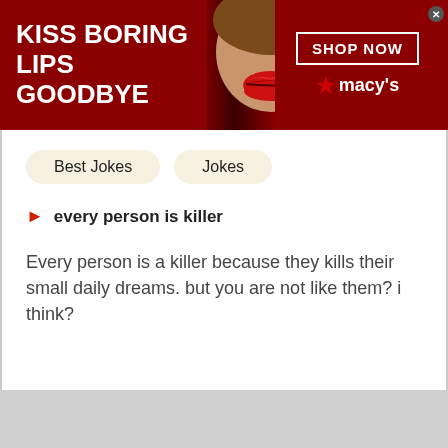[Figure (illustration): Macy's advertisement banner with red background, woman's face with red lips, text 'KISS BORING LIPS GOODBYE', 'SHOP NOW' button, and Macy's star logo]
Best Jokes
Jokes
every person is killer
Every person is a killer because they kills their small daily dreams. but you are not like them? i think?
[Figure (illustration): BoConcept advertisement banner with red-to-yellow gradient, text 'EKSTRAORDINÆR', 'AMAZING DEALS', 'BoConcept', 'LIVE EKSTRAORDINÆR']